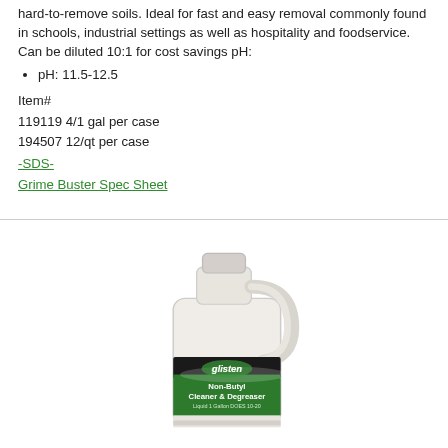hard-to-remove soils. Ideal for fast and easy removal commonly found in schools, industrial settings as well as hospitality and foodservice. Can be diluted 10:1 for cost savings pH:
pH: 11.5-12.5
Item#
119119 4/1 gal per case
194507 12/qt per case
-SDS-
Grime Buster Spec Sheet
[Figure (photo): A white gallon jug of Glisten Non-Butyl Cleaner & Degreaser with a green and black label]